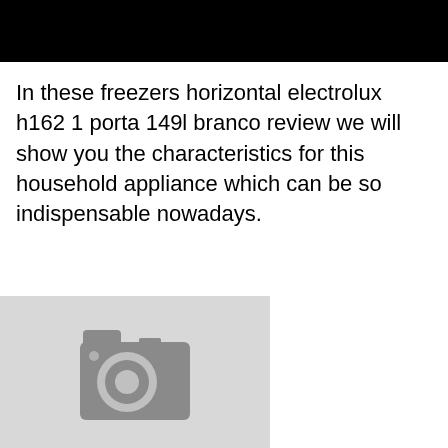[Figure (other): Black header banner at top of page]
In these freezers horizontal electrolux h162 1 porta 149l branco review we will show you the characteristics for this household appliance which can be so indispensable nowadays.
[Figure (photo): Gray placeholder image with camera icon]